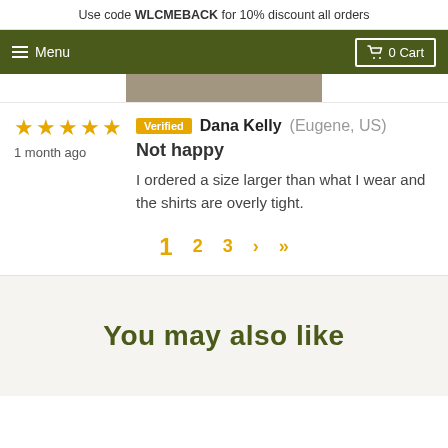Use code WLCMEBACK for 10% discount all orders
Menu  0 Cart
★★★★★  1 month ago  Verified  Dana Kelly (Eugene, US)  Not happy  I ordered a size larger than what I wear and the shirts are overly tight.
1  2  3  >  >|
You may also like